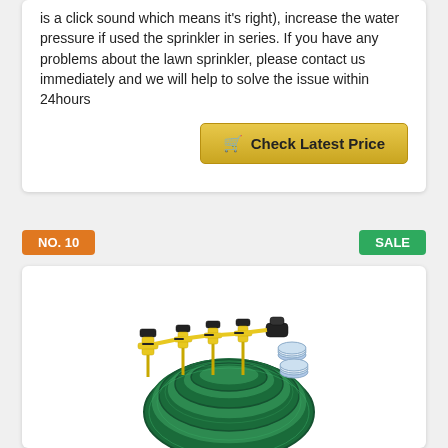is a click sound which means it's right), increase the water pressure if used the sprinkler in series. If you have any problems about the lawn sprinkler, please contact us immediately and we will help to solve the issue within 24hours
[Figure (other): Check Latest Price button with shopping cart icon, gold/yellow gradient background]
NO. 10
SALE
[Figure (photo): Garden hose sprinkler kit product photo showing a coiled green garden hose with yellow and black sprinkler heads/connectors and two rolls of white tape]